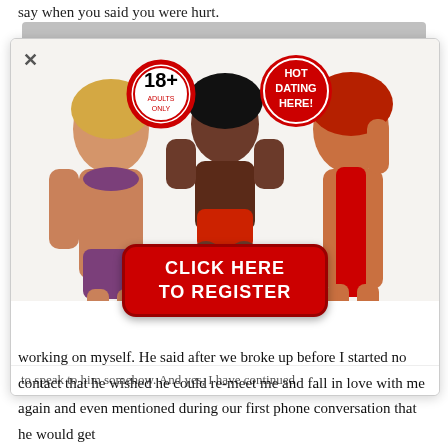say when you said you were hurt.
[Figure (screenshot): Adult dating advertisement popup with 18+ badge, HOT DATING HERE badge, three women in revealing clothing, and a red CLICK HERE TO REGISTER button]
to speak to him somehow. And yes, I have continued working on myself. He said after we broke up before I started no contact that he wished he could re-meet me and fall in love with me again and even mentioned during our first phone conversation that he would get